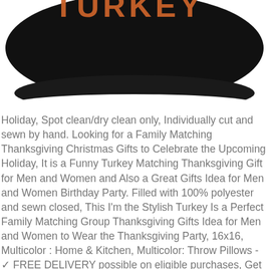[Figure (photo): Black throw pillow with orange text partially visible at the top of the image, shown against a white background.]
Holiday, Spot clean/dry clean only, Individually cut and sewn by hand. Looking for a Family Matching Thanksgiving Christmas Gifts to Celebrate the Upcoming Holiday, It is a Funny Turkey Matching Thanksgiving Gift for Men and Women and Also a Great Gifts Idea for Men and Women Birthday Party. Filled with 100% polyester and sewn closed, This I'm the Stylish Turkey Is a Perfect Family Matching Group Thanksgiving Gifts Idea for Men and Women to Wear the Thanksgiving Party, 16x16, Multicolor : Home & Kitchen, Multicolor: Throw Pillows - ✓ FREE DELIVERY possible on eligible purchases, Get This Cool Thanksgiving Family Gift for Men and Women to Celebrate the Thanksgiving Day With This Cute Matching Family Thanksgiving Outfits, 16x16, 100% spun-polyester